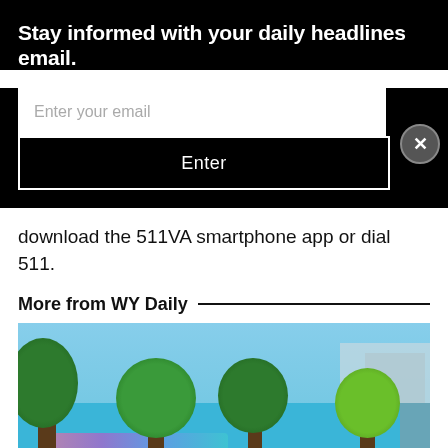Stay informed with your daily headlines email.
Enter your email
Enter
download the 511VA smartphone app or dial 511.
More from WY Daily
[Figure (photo): Outdoor photo showing a bright blue mural wall with trees and buildings in the background. Caption text overlaid at bottom reads 'Williamsburg Public Arts Council Celebrates First']
Williamsburg Public Arts Council Celebrates First